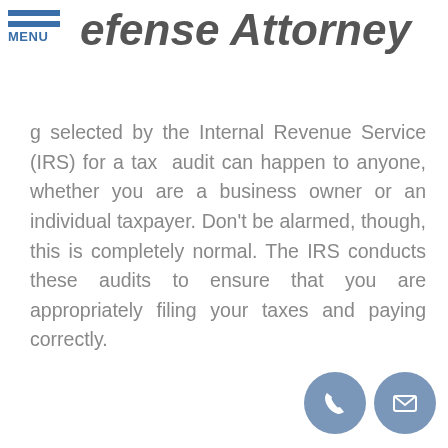MENU
efense Attorney
g selected by the Internal Revenue Service (IRS) for a tax audit can happen to anyone, whether you are a business owner or an individual taxpayer. Don't be alarmed, though, this is completely normal. The IRS conducts these audits to ensure that you are appropriately filing your taxes and paying correctly.
[Figure (illustration): Phone contact icon - blue circle with white phone handset symbol]
[Figure (illustration): Email contact icon - blue circle with white envelope symbol]